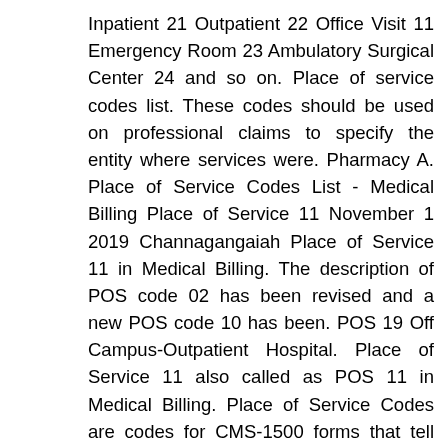Inpatient 21 Outpatient 22 Office Visit 11 Emergency Room 23 Ambulatory Surgical Center 24 and so on. Place of service codes list. These codes should be used on professional claims to specify the entity where services were. Pharmacy A. Place of Service Codes List - Medical Billing Place of Service 11 November 1 2019 Channagangaiah Place of Service 11 in Medical Billing. The description of POS code 02 has been revised and a new POS code 10 has been. POS 19 Off Campus-Outpatient Hospital. Place of Service 11 also called as POS 11 in Medical Billing. Place of Service Codes are codes for CMS-1500 forms that tell the payer where the patients medical care was given. The Centers for Medicare Medicaid Services CMS maintain POS codes used throughout the health care industry. What place of service code POS should we bill for outpatient hospital. Place of service codes The chart below is a below list of some of the place of service